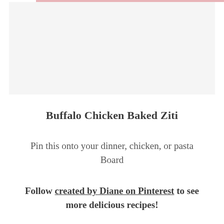[Figure (photo): Light gray image placeholder area at the top of the page, with a pink/rose horizontal bar at the very top edge.]
Buffalo Chicken Baked Ziti
Pin this onto your dinner, chicken, or pasta Board
Follow created by Diane on Pinterest to see more delicious recipes!